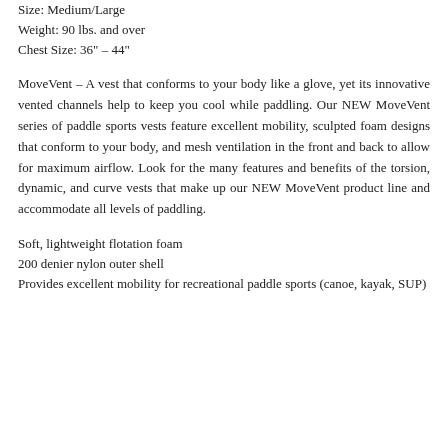Size: Medium/Large
Weight: 90 lbs. and over
Chest Size: 36" - 44"
MoveVent – A vest that conforms to your body like a glove, yet its innovative vented channels help to keep you cool while paddling. Our NEW MoveVent series of paddle sports vests feature excellent mobility, sculpted foam designs that conform to your body, and mesh ventilation in the front and back to allow for maximum airflow. Look for the many features and benefits of the torsion, dynamic, and curve vests that make up our NEW MoveVent product line and accommodate all levels of paddling.
Soft, lightweight flotation foam
200 denier nylon outer shell
Provides excellent mobility for recreational paddle sports (canoe, kayak, SUP)